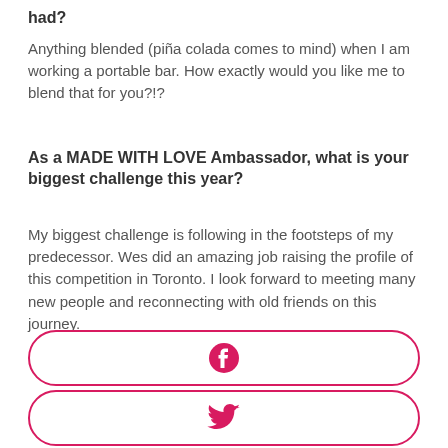had?
Anything blended (piña colada comes to mind) when I am working a portable bar. How exactly would you like me to blend that for you?!?
As a MADE WITH LOVE Ambassador, what is your biggest challenge this year?
My biggest challenge is following in the footsteps of my predecessor. Wes did an amazing job raising the profile of this competition in Toronto. I look forward to meeting many new people and reconnecting with old friends on this journey.
[Figure (illustration): Facebook social media button — pink circular Facebook icon inside a rounded rectangle border in pink]
[Figure (illustration): Twitter social media button — pink Twitter bird icon inside a rounded rectangle border in pink]
[Figure (illustration): Instagram social media button — pink Instagram icon inside a rounded rectangle border in pink (partially visible)]